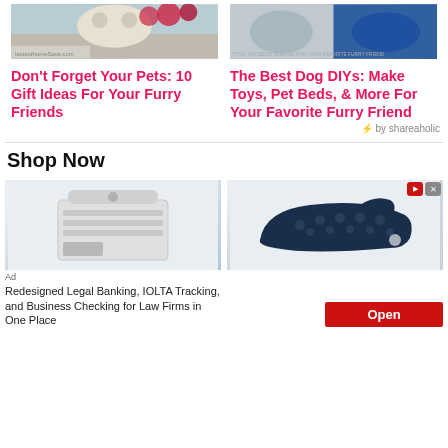[Figure (photo): Photo of a dog with Christmas decorations on snow]
Don't Forget Your Pets: 10 Gift Ideas For Your Furry Friends
[Figure (photo): Photos of a dog and a blue toy]
The Best Dog DIYs: Make Toys, Pet Beds, & More For Your Favorite Furry Friend
⚡ by shareaholic
Shop Now
[Figure (photo): Image of a white electronic device/printer]
Redesigned Legal Banking, IOLTA Tracking, and Business Checking for Law Firms in One Place
Ad
[Figure (photo): Image of a navy blue Crocs clog shoe]
Open